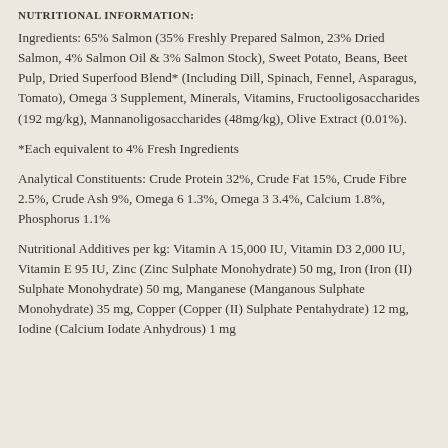NUTRITIONAL INFORMATION:
Ingredients: 65% Salmon (35% Freshly Prepared Salmon, 23% Dried Salmon, 4% Salmon Oil & 3% Salmon Stock), Sweet Potato, Beans, Beet Pulp, Dried Superfood Blend* (Including Dill, Spinach, Fennel, Asparagus, Tomato), Omega 3 Supplement, Minerals, Vitamins, Fructooligosaccharides (192 mg/kg), Mannanoligosaccharides (48mg/kg), Olive Extract (0.01%).
*Each equivalent to 4% Fresh Ingredients
Analytical Constituents: Crude Protein 32%, Crude Fat 15%, Crude Fibre 2.5%, Crude Ash 9%, Omega 6 1.3%, Omega 3 3.4%, Calcium 1.8%, Phosphorus 1.1%
Nutritional Additives per kg: Vitamin A 15,000 IU, Vitamin D3 2,000 IU, Vitamin E 95 IU, Zinc (Zinc Sulphate Monohydrate) 50 mg, Iron (Iron (II) Sulphate Monohydrate) 50 mg, Manganese (Manganous Sulphate Monohydrate) 35 mg, Copper (Copper (II) Sulphate Pentahydrate) 12 mg, Iodine (Calcium Iodate Anhydrous) 1 mg